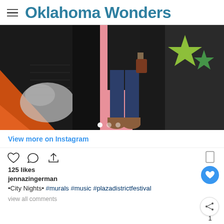Oklahoma Wonders
[Figure (photo): Person standing in front of a colorful mural wall with graffiti — black, pink, orange, white, and green star shapes on brick. Person wearing dark jeans and brown ankle boots.]
View more on Instagram
125 likes
jennazingerman
•City Nights• #murals #music #plazadistrictfestival
view all comments